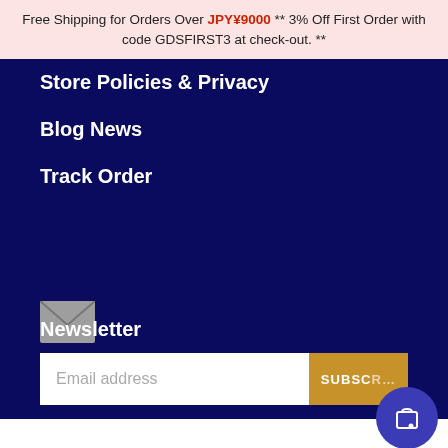Free Shipping for Orders Over JPY¥9000 ** 3% Off First Order with code GDSFIRST3 at check-out. **
Store Policies & Privacy
Blog News
Track Order
[Figure (illustration): Mail envelope icon (grey) on dark navy background]
Newsletter
Email address  SUBSCRIBE